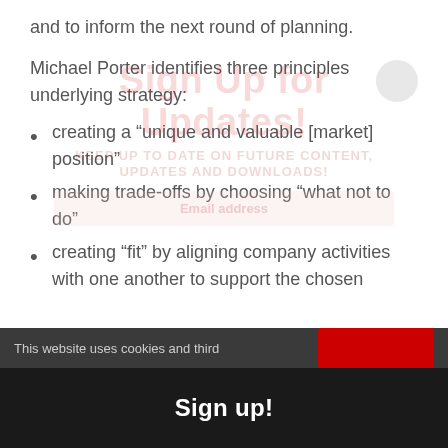and to inform the next round of planning.
Michael Porter identifies three principles underlying strategy:
creating a “unique and valuable [market] position”
making trade-offs by choosing “what not to do”
creating “fit” by aligning company activities with one another to support the chosen
This website uses cookies and third
Sign up!